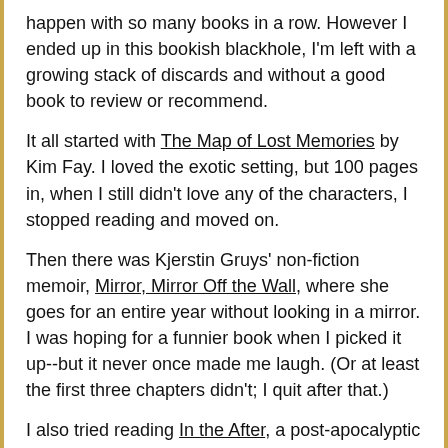happen with so many books in a row. However I ended up in this bookish blackhole, I'm left with a growing stack of discards and without a good book to review or recommend.
It all started with The Map of Lost Memories by Kim Fay. I loved the exotic setting, but 100 pages in, when I still didn't love any of the characters, I stopped reading and moved on.
Then there was Kjerstin Gruys' non-fiction memoir, Mirror, Mirror Off the Wall, where she goes for an entire year without looking in a mirror. I was hoping for a funnier book when I picked it up--but it never once made me laugh. (Or at least the first three chapters didn't; I quit after that.)
I also tried reading In the After, a post-apocalyptic YA novel by Demetria Lunetta, mostly because I can never resist picking up post-apocalyptic/survival novels. And this one started off okay. But then I made the mistake of flipping to the end...and when I saw where it was headed I decided I just didn't want to go there.
So, that's my sad tale of woe. Three books that should have